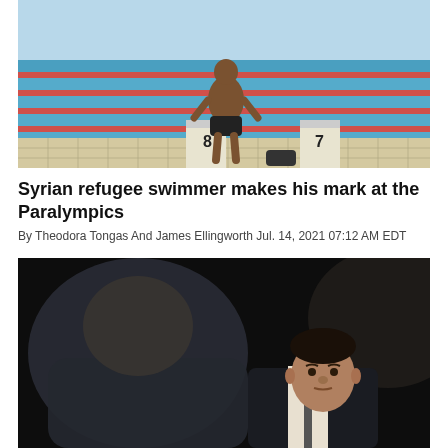[Figure (photo): A swimmer standing at the edge of an outdoor Olympic swimming pool, viewed from behind, near lane markers numbered 7 and 8. The pool has blue water with red and white lane dividers.]
Syrian refugee swimmer makes his mark at the Paralympics
By Theodora Tongas And James Ellingworth Jul. 14, 2021 07:12 AM EDT
[Figure (photo): Two men in suits against a dark background. One man in foreground is blurred, another younger man is in focus in the background looking forward.]